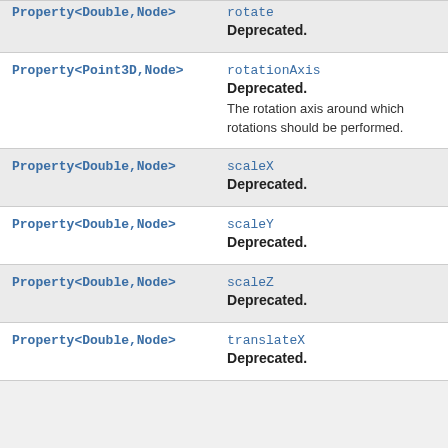| Type | Property / Description |
| --- | --- |
| Property<Double,Node> | rotate
Deprecated. |
| Property<Point3D,Node> | rotationAxis
Deprecated.
The rotation axis around which rotations should be performed. |
| Property<Double,Node> | scaleX
Deprecated. |
| Property<Double,Node> | scaleY
Deprecated. |
| Property<Double,Node> | scaleZ
Deprecated. |
| Property<Double,Node> | translateX
Deprecated. |